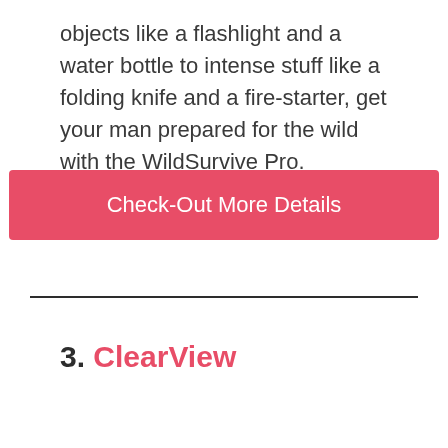objects like a flashlight and a water bottle to intense stuff like a folding knife and a fire-starter, get your man prepared for the wild with the WildSurvive Pro.
[Figure (other): Red call-to-action button with text 'Check-Out More Details']
3. ClearView